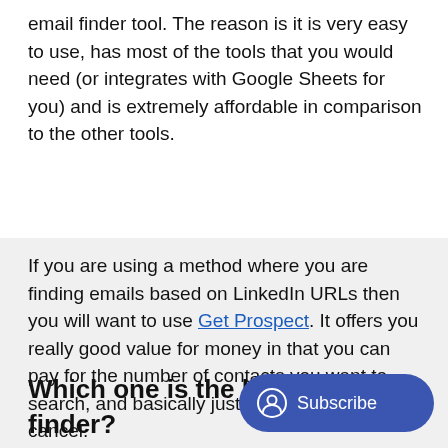email finder tool. The reason is it is very easy to use, has most of the tools that you would need (or integrates with Google Sheets for you) and is extremely affordable in comparison to the other tools.
If you are using a method where you are finding emails based on LinkedIn URLs then you will want to use Get Prospect. It offers you really good value for money in that you can pay for the number of contacts you want to search, and basically just one month and cancel.
Which one is the best b... finder?